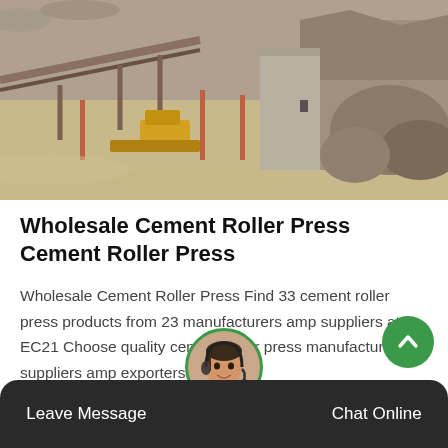[Figure (photo): Aerial view of a cement/quarry construction site with conveyor belts, excavators, sand, rock formations and construction equipment]
Wholesale Cement Roller Press Cement Roller Press
Wholesale Cement Roller Press Find 33 cement roller press products from 23 manufacturers amp suppliers at EC21 Choose quality cement roller press manufacturers suppliers amp exporters now
[Figure (other): Get Price button - green rounded rectangle button]
[Figure (other): Customer service representative avatar with headset, circular green-bordered photo, and scroll-to-top green circular button with chevron icon]
Leave Message    Chat Online